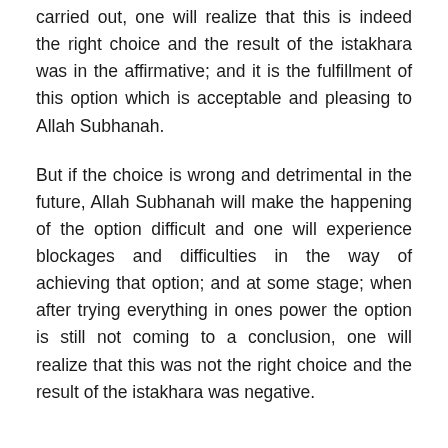carried out, one will realize that this is indeed the right choice and the result of the istakhara was in the affirmative; and it is the fulfillment of this option which is acceptable and pleasing to Allah Subhanah.
But if the choice is wrong and detrimental in the future, Allah Subhanah will make the happening of the option difficult and one will experience blockages and difficulties in the way of achieving that option; and at some stage; when after trying everything in ones power the option is still not coming to a conclusion, one will realize that this was not the right choice and the result of the istakhara was negative.